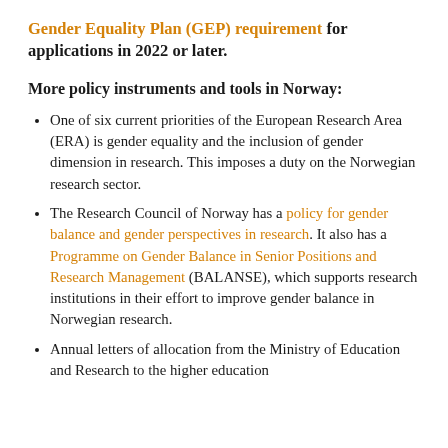Gender Equality Plan (GEP) requirement for applications in 2022 or later.
More policy instruments and tools in Norway:
One of six current priorities of the European Research Area (ERA) is gender equality and the inclusion of gender dimension in research. This imposes a duty on the Norwegian research sector.
The Research Council of Norway has a policy for gender balance and gender perspectives in research. It also has a Programme on Gender Balance in Senior Positions and Research Management (BALANSE), which supports research institutions in their effort to improve gender balance in Norwegian research.
Annual letters of allocation from the Ministry of Education and Research to the higher education